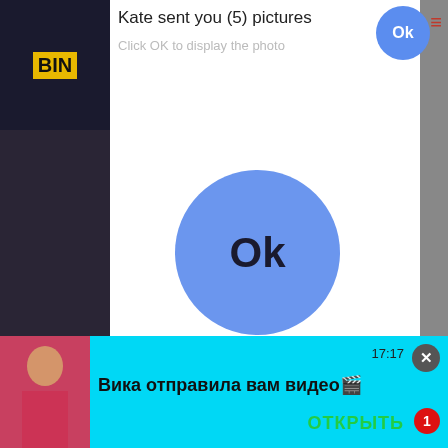[Figure (screenshot): Screenshot of a webpage showing multiple layered ads and notifications. Top popup dialog says 'Kate sent you (5) pictures / Click OK to display the photo' with an OK button. A large blue circle with 'Ok' text is centered in the dialog. Behind it are dark video thumbnails. A '00:08:11' timer video thumbnail is on the left. An 'Ads by Clickadilla / Skip in 5 seconds X' banner overlays a dark video ad. At the bottom is a cyan notification bar: 'Вика отправила вам видео🎬' with 'ОТКРЫТЬ' green button and red badge '1', timestamp '17:17', and a close X button.]